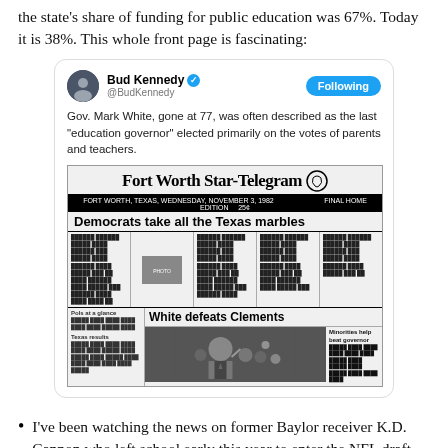the state's share of funding for public education was 67%. Today it is 38%. This whole front page is fascinating:
[Figure (screenshot): Embedded tweet from Bud Kennedy (@BudKennedy) with a Following button. Tweet text: 'Gov. Mark White, gone at 77, was often described as the last "education governor" elected primarily on the votes of parents and teachers.' Below the tweet text is an embedded image of a Fort Worth Star-Telegram newspaper front page with headlines: 'Democrats take all the Texas marbles' and 'White defeats Clements' with a subheadline 'Minorities help beat governor' and a photograph of a celebrating man.]
I've been watching the news on former Baylor receiver K.D. Cannon who left school early this year to enter the NFL draft. He went undrafted.